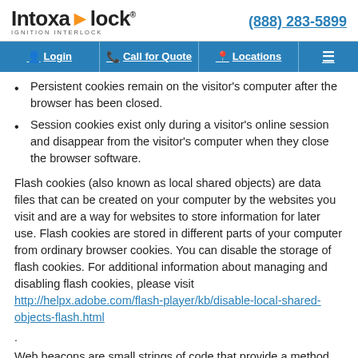Intoxalock IGNITION INTERLOCK | (888) 283-5899
Login | Call for Quote | Locations
Persistent cookies remain on the visitor's computer after the browser has been closed.
Session cookies exist only during a visitor's online session and disappear from the visitor's computer when they close the browser software.
Flash cookies (also known as local shared objects) are data files that can be created on your computer by the websites you visit and are a way for websites to store information for later use. Flash cookies are stored in different parts of your computer from ordinary browser cookies. You can disable the storage of flash cookies. For additional information about managing and disabling flash cookies, please visit http://helpx.adobe.com/flash-player/kb/disable-local-shared-objects-flash.html .
Web beacons are small strings of code that provide a method for delivering a graphic image on a Web page or in an email message for the purpose of transferring data. You can disable